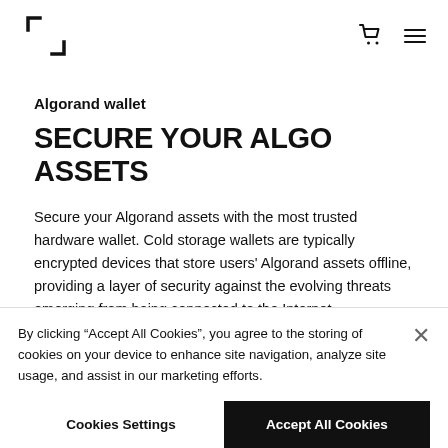Algorand wallet — navigation header with logo, cart icon, and menu icon
Algorand wallet
SECURE YOUR ALGO ASSETS
Secure your Algorand assets with the most trusted hardware wallet. Cold storage wallets are typically encrypted devices that store users' Algorand assets offline, providing a layer of security against the evolving threats emerging from being connected to the Internet.
By clicking “Accept All Cookies”, you agree to the storing of cookies on your device to enhance site navigation, analyze site usage, and assist in our marketing efforts.
Cookies Settings
Accept All Cookies